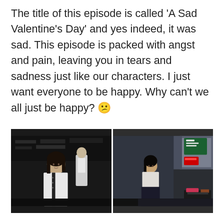The title of this episode is called 'A Sad Valentine's Day' and yes indeed, it was sad. This episode is packed with angst and pain, leaving you in tears and sadness just like our characters. I just want everyone to be happy. Why can't we all just be happy? 😕
[Figure (photo): Two side-by-side dark-toned screenshots from a TV episode. Left image: a young woman in a white chef's uniform standing in a kitchen, a man visible in the background. Right image: a young woman in a white top and dark skirt standing in a room, with a bulletin board and some items visible.]
Our sweet Cho Co reminisces about every Valentine's Day she's experienced in her entire life. The holiday has never sat well with her. She's always been rejected from her crushes or she got